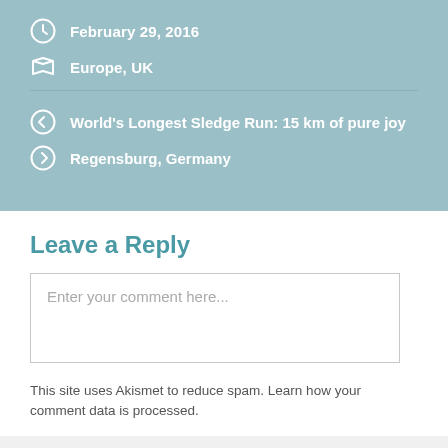February 29, 2016
Europe, UK
World's Longest Sledge Run: 15 km of pure joy
Regensburg, Germany
Leave a Reply
Enter your comment here...
This site uses Akismet to reduce spam. Learn how your comment data is processed.